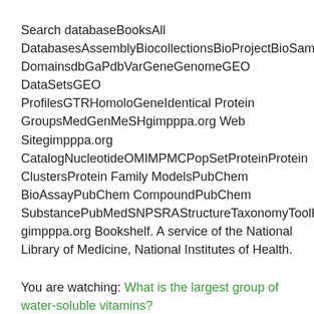Search databaseBooksAll DatabasesAssemblyBiocollectionsBioProjectBioSampleBioSystemsBooksClinVarConserved DomainsdbGaPdbVarGeneGenomeGEO DataSetsGEO ProfilesGTRHomoloGeneIdentical Protein GroupsMedGenMeSHgimpppa.org Web Sitegimpppa.org CatalogNucleotideOMIMPMCPopSetProteinProtein ClustersProtein Family ModelsPubChem BioAssayPubChem CompoundPubChem SubstancePubMedSNPSRAStructureTaxonomyToolKitToolKitAllToolKitBookgh gimpppa.org Bookshelf. A service of the National Library of Medicine, National Institutes of Health.
You are watching: What is the largest group of water-soluble vitamins?